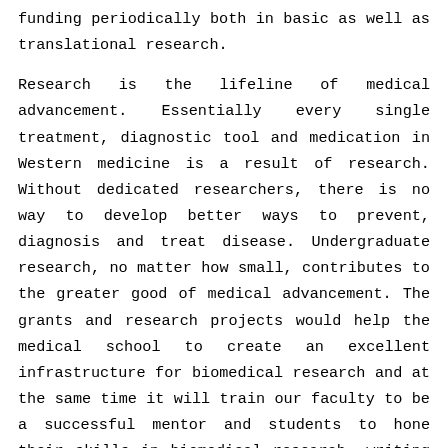funding periodically both in basic as well as translational research.
Research is the lifeline of medical advancement. Essentially every single treatment, diagnostic tool and medication in Western medicine is a result of research. Without dedicated researchers, there is no way to develop better ways to prevent, diagnosis and treat disease. Undergraduate research, no matter how small, contributes to the greater good of medical advancement. The grants and research projects would help the medical school to create an excellent infrastructure for biomedical research and at the same time it will train our faculty to be a successful mentor and students to hone their skills in biomedical research, writing and publishing papers and would improve